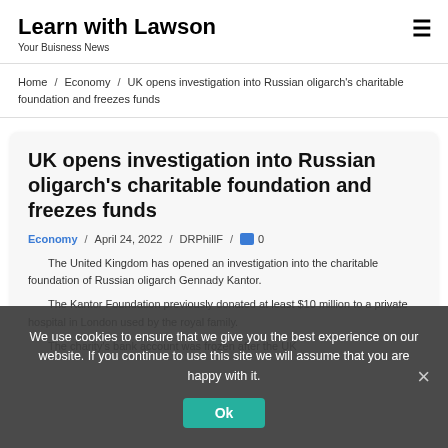Learn with Lawson
Your Buisness News
Home / Economy / UK opens investigation into Russian oligarch's charitable foundation and freezes funds
UK opens investigation into Russian oligarch's charitable foundation and freezes funds
Economy / April 24, 2022 / DRPhillF / 0
The United Kingdom has opened an investigation into the charitable foundation of Russian oligarch Gennady Kantor. The Kantor Foundation previously donated at least $10 million to a private hospital in London used by the royal family. The charity's bank account was frozen after the UK
We use cookies to ensure that we give you the best experience on our website. If you continue to use this site we will assume that you are happy with it.